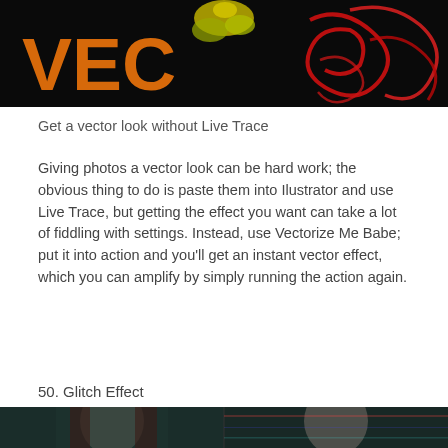[Figure (photo): Top portion of a vector art image showing the letters 'VEC' in orange on the left, a flower/foliage motif in the center, and red swirling patterns on a black background on the right.]
Get a vector look without Live Trace
Giving photos a vector look can be hard work; the obvious thing to do is paste them into Ilustrator and use Live Trace, but getting the effect you want can take a lot of fiddling with settings. Instead, use Vectorize Me Babe; put it into action and you'll get an instant vector effect, which you can amplify by simply running the action again.
50. Glitch Effect
[Figure (photo): Side-by-side comparison of a portrait of a woman with dark red hair: left side shows the original moody dark teal-toned photo, right side shows the same photo with a glitch/chromatic aberration effect applied.]